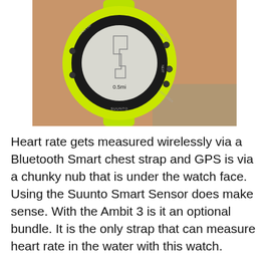[Figure (photo): A Suunto GPS sports watch with a bright neon yellow-green bezel and band worn on a person's wrist. The circular watch face displays a route map with the distance '0.5mi' shown. Buttons are visible around the bezel labeled BACK LAP, START STOP, NEXT, LIGHT LOCK, and SUUNTO at the bottom.]
Heart rate gets measured wirelessly via a Bluetooth Smart chest strap and GPS is via a chunky nub that is under the watch face. Using the Suunto Smart Sensor does make sense. With the Ambit 3 is it an optional bundle. It is the only strap that can measure heart rate in the water with this watch.